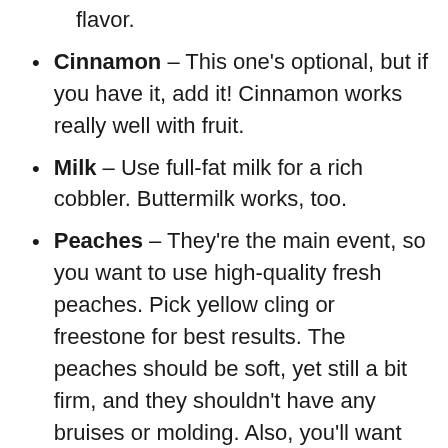flavor.
Cinnamon – This one's optional, but if you have it, add it! Cinnamon works really well with fruit.
Milk – Use full-fat milk for a rich cobbler. Buttermilk works, too.
Peaches – They're the main event, so you want to use high-quality fresh peaches. Pick yellow cling or freestone for best results. The peaches should be soft, yet still a bit firm, and they shouldn't have any bruises or molding. Also, you'll want